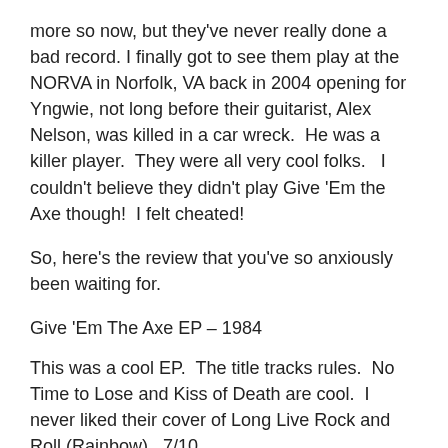more so now, but they've never really done a bad record. I finally got to see them play at the NORVA in Norfolk, VA back in 2004 opening for Yngwie, not long before their guitarist, Alex Nelson, was killed in a car wreck.  He was a killer player.  They were all very cool folks.   I couldn't believe they didn't play Give 'Em the Axe though!  I felt cheated!
So, here's the review that you've so anxiously been waiting for.
Give 'Em The Axe EP – 1984
This was a cool EP.  The title tracks rules.  No Time to Lose and Kiss of Death are cool.  I never liked their cover of Long Live Rock and Roll (Rainbow).  7/10
Love You To Pieces – 1985